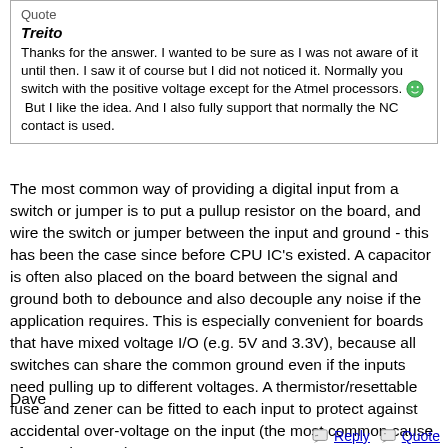Quote
Treito
Thanks for the answer. I wanted to be sure as I was not aware of it until then. I saw it of course but I did not noticed it. Normally you switch with the positive voltage except for the Atmel processors. [emoji] But I like the idea. And I also fully support that normally the NC contact is used.
The most common way of providing a digital input from a switch or jumper is to put a pullup resistor on the board, and wire the switch or jumper between the input and ground - this has been the case since before CPU IC's existed. A capacitor is often also placed on the board between the signal and ground both to debounce and also decouple any noise if the application requires. This is especially convenient for boards that have mixed voltage I/O (e.g. 5V and 3.3V), because all switches can share the common ground even if the inputs need pulling up to different voltages. A thermistor/resettable fuse and zener can be fitted to each input to protect against accidental over-voltage on the input (the most common cause of Duet damage!)
Dave
Reply   Quote